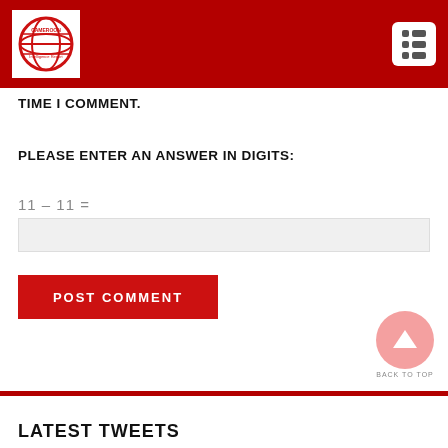[Figure (logo): Cameroon Intelligence Report logo — globe icon with red and white coloring, text 'CAMEROON Intelligence Report']
TIME I COMMENT.
PLEASE ENTER AN ANSWER IN DIGITS:
11 − 11 =
POST COMMENT
BACK TO TOP
LATEST TWEETS